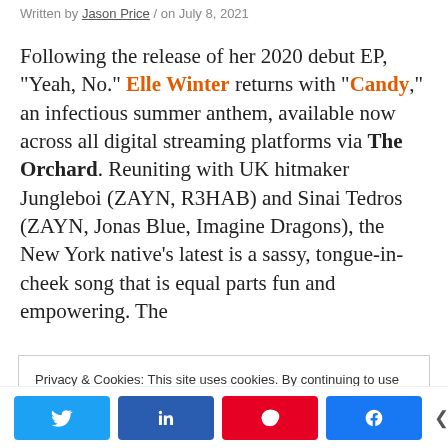Written by Jason Price / on July 8, 2021
Following the release of her 2020 debut EP, "Yeah, No." Elle Winter returns with "Candy," an infectious summer anthem, available now across all digital streaming platforms via The Orchard. Reuniting with UK hitmaker Jungleboi (ZAYN, R3HAB) and Sinai Tedros (ZAYN, Jonas Blue, Imagine Dragons), the New York native's latest is a sassy, tongue-in-cheek song that is equal parts fun and empowering. The
Privacy & Cookies: This site uses cookies. By continuing to use this website, you agree to their use. To find out more, including how to control cookies, see here: Cookie Policy
Twitter LinkedIn Pinterest Facebook 0 SHARES